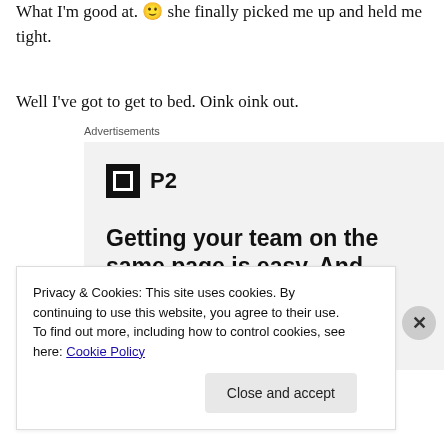What I'm good at. 🙂 she finally picked me up and held me tight.
Well I've got to get to bed. Oink oink out.
[Figure (screenshot): Advertisement for P2 product: logo with black square icon and 'P2' text. Tagline: 'Getting your team on the same page is easy. And free.' with profile avatars at bottom.]
Privacy & Cookies: This site uses cookies. By continuing to use this website, you agree to their use.
To find out more, including how to control cookies, see here: Cookie Policy